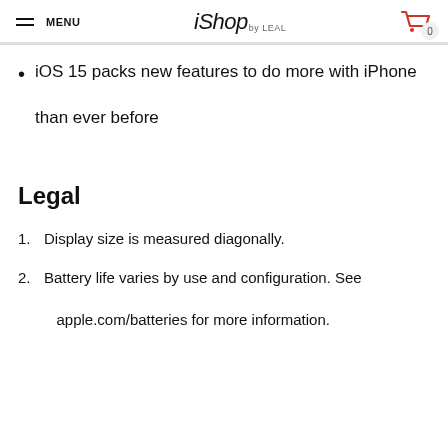MENU | iShop by LEAL | 0
iOS 15 packs new features to do more with iPhone than ever before
Legal
1. Display size is measured diagonally.
2. Battery life varies by use and configuration. See apple.com/batteries for more information.